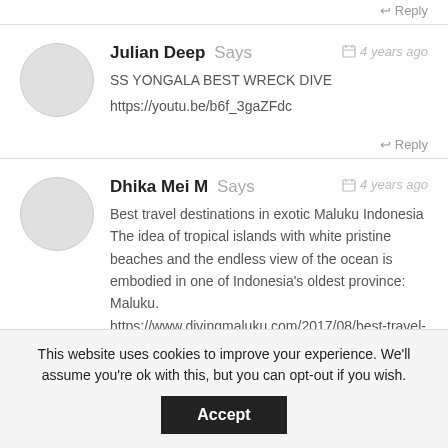↩ Reply
Julian Deep Says — 4 years ago
SS YONGALA BEST WRECK DIVE
https://youtu.be/b6f_3gaZFdc
↩ Reply
Dhika Mei M Says — 4 years ago
Best travel destinations in exotic Maluku Indonesia The idea of tropical islands with white pristine beaches and the endless view of the ocean is embodied in one of Indonesia's oldest province: Maluku.
https://www.divingmaluku.com/2017/08/best-travel-destinations-maluku-indonesia/
↩ Reply
This website uses cookies to improve your experience. We'll assume you're ok with this, but you can opt-out if you wish. Accept